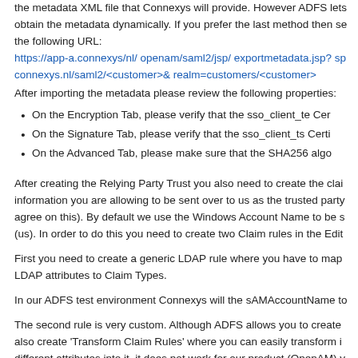the metadata XML file that Connexys will provide. However ADFS lets obtain the metadata dynamically. If you prefer the last method then see the following URL:
https://app-a.connexys/nl/ openam/saml2/jsp/ exportmetadata.jsp? sp connexys.nl/saml2/<customer>& realm=customers/<customer>
After importing the metadata please review the following properties:
On the Encryption Tab, please verify that the sso_client_te Cer
On the Signature Tab, please verify that the sso_client_ts Certi
On the Advanced Tab, please make sure that the SHA256 algo
After creating the Relying Party Trust you also need to create the clai information you are allowing to be sent over to us as the trusted party agree on this). By default we use the Windows Account Name to be s (us). In order to do this you need to create two Claim rules in the Edit
First you need to create a generic LDAP rule where you have to map LDAP attributes to Claim Types.
In our ADFS test environment Connexys will the sAMAccountName to
The second rule is very custom. Although ADFS allows you to create also create 'Transform Claim Rules' where you can easily transform i different attributes into it, it does not work for our product (OpenAM) y